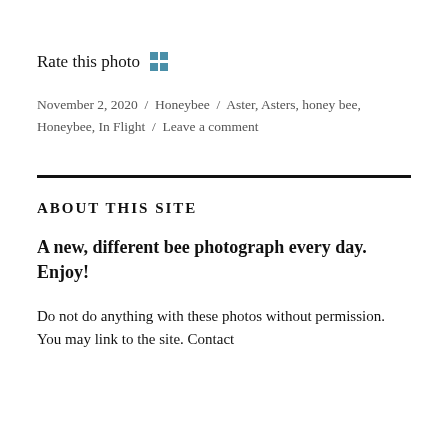Rate this photo
November 2, 2020 / Honeybee / Aster, Asters, honey bee, Honeybee, In Flight / Leave a comment
ABOUT THIS SITE
A new, different bee photograph every day. Enjoy!
Do not do anything with these photos without permission. You may link to the site. Contact